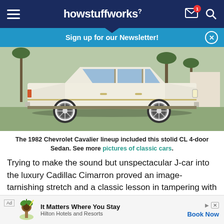howstuffworks
Sign up for our Newsletter!
[Figure (photo): Side profile of a white/cream 1982 Chevrolet Cavalier CL 4-door Sedan parked outdoors with palm trees in background]
The 1982 Chevrolet Cavalier lineup included this stolid CL 4-door Sedan. See more pictures of classic cars.
Trying to make the sound but unspectacular J-car into the luxury Cadillac Cimarron proved an image-tarnishing stretch and a classic lesson in tampering with brand identity. This compact front wheel drive layout suited the
Ad It Matters Where You Stay Hilton Hotels and Resorts Book Now